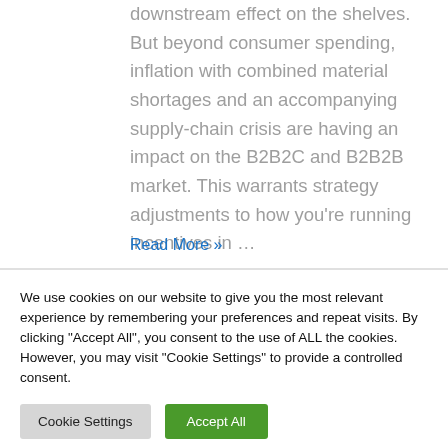downstream effect on the shelves. But beyond consumer spending, inflation with combined material shortages and an accompanying supply-chain crisis are having an impact on the B2B2C and B2B2B market. This warrants strategy adjustments to how you're running incentives in …
Read More »
We use cookies on our website to give you the most relevant experience by remembering your preferences and repeat visits. By clicking "Accept All", you consent to the use of ALL the cookies. However, you may visit "Cookie Settings" to provide a controlled consent.